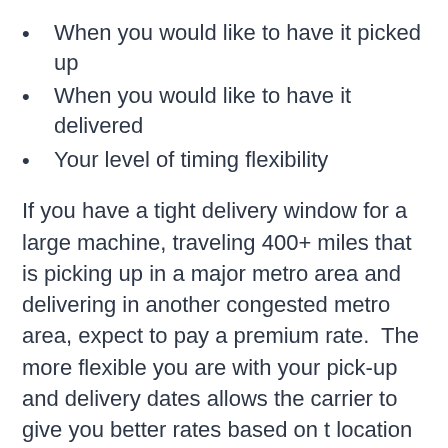When you would like to have it picked up
When you would like to have it delivered
Your level of timing flexibility
If you have a tight delivery window for a large machine, traveling 400+ miles that is picking up in a major metro area and delivering in another congested metro area, expect to pay a premium rate.  The more flexible you are with your pick-up and delivery dates allows the carrier to give you better rates based on the location of their fleet.  Congested metro areas are difficult and time consuming for large